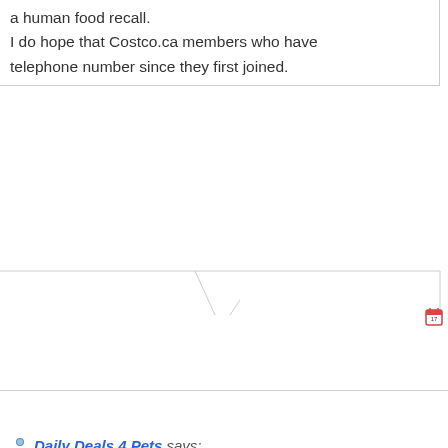a human food recall. I do hope that Costco.ca members who have telephone number since they first joined.
Daily Deals 4 Pets says:
I wanted to quickly write in and let everyone about 4 days ago after I opened a brand new bloody stool, vomiting, and fevers. It wasn't t that I noticed that this recall also covered th Because we are in California and this state ha decided to call the hotline and talk with som receiving calls from all over California and h California to the list. The point of my comme of their food immediately and call the 1800 chicken/vegetable diet, where they will rema trusted!